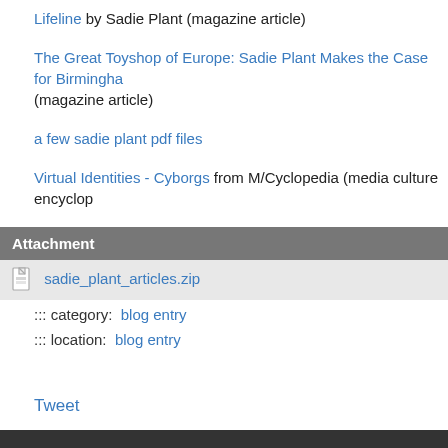Lifeline by Sadie Plant (magazine article)
The Great Toyshop of Europe: Sadie Plant Makes the Case for Birmingham (magazine article)
a few sadie plant pdf files
Virtual Identities - Cyborgs from M/Cyclopedia (media culture encyclop…
| Attachment |
| --- |
| sadie_plant_articles.zip |
::: category:  blog entry
::: location:  blog entry
Tweet